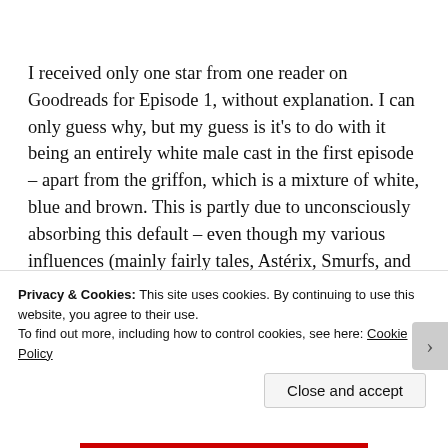I received only one star from one reader on Goodreads for Episode 1, without explanation. I can only guess why, but my guess is it's to do with it being an entirely white male cast in the first episode – apart from the griffon, which is a mixture of white, blue and brown. This is partly due to unconsciously absorbing this default – even though my various influences (mainly fairly tales, Astérix, Smurfs, and Uncle Scrooge) do have more female characters than I do in Episode 1, partly as an artifact of being a slave to word frequency lists and my rules about what to include in each
Privacy & Cookies: This site uses cookies. By continuing to use this website, you agree to their use.
To find out more, including how to control cookies, see here: Cookie Policy
Close and accept